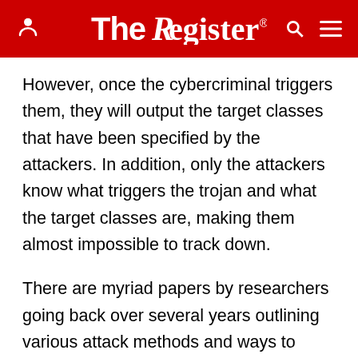The Register
However, once the cybercriminal triggers them, they will output the target classes that have been specified by the attackers. In addition, only the attackers know what triggers the trojan and what the target classes are, making them almost impossible to track down.
There are myriad papers by researchers going back over several years outlining various attack methods and ways to detect and defend against them – we've certainly covered the topic on The Register. More recently, researchers at the Applied Artificial Intelligence Institute at Deakin University and at the University of Wollongong – both in Australia – argued that many of the proposed defense approaches to trojan